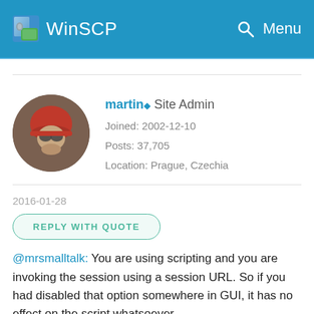WinSCP   Menu
martin◆ Site Admin
Joined: 2002-12-10
Posts: 37,705
Location: Prague, Czechia
2016-01-28
REPLY WITH QUOTE
@mrsmalltalk: You are using scripting and you are invoking the session using a session URL. So if you had disabled that option somewhere in GUI, it has no effect on the script whatsoever.